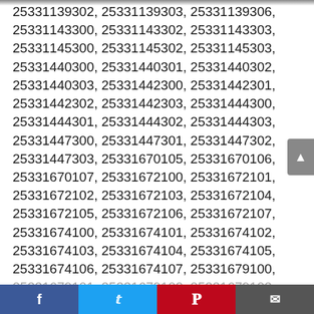25331139302, 25331139303, 25331139306, 25331143300, 25331143302, 25331143303, 25331145300, 25331145302, 25331145303, 25331440300, 25331440301, 25331440302, 25331440303, 25331442300, 25331442301, 25331442302, 25331442303, 25331444300, 25331444301, 25331444302, 25331444303, 25331447300, 25331447301, 25331447302, 25331447303, 25331670105, 25331670106, 25331670107, 25331672100, 25331672101, 25331672102, 25331672103, 25331672104, 25331672105, 25331672106, 25331672107, 25331674100, 25331674101, 25331674102, 25331674103, 25331674104, 25331674105, 25331674106, 25331674107, 25331679100, 25331679101, 25331679102, 25331679103